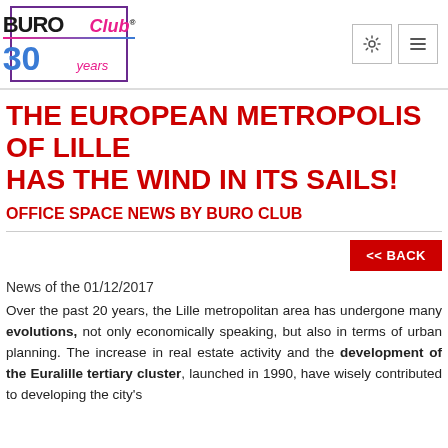[Figure (logo): Buro Club 30 Years logo in a purple-bordered box with pink and blue colors]
THE EUROPEAN METROPOLIS OF LILLE HAS THE WIND IN ITS SAILS!
OFFICE SPACE NEWS BY BURO CLUB
<< BACK
News of the 01/12/2017
Over the past 20 years, the Lille metropolitan area has undergone many evolutions, not only economically speaking, but also in terms of urban planning. The increase in real estate activity and the development of the Euralille tertiary cluster, launched in 1990, have wisely contributed to developing the city's